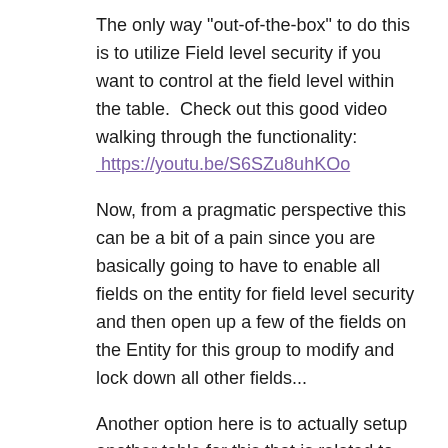The only way "out-of-the-box" to do this is to utilize Field level security if you want to control at the field level within the table.  Check out this good video walking through the functionality:
 https://youtu.be/S6SZu8uhKOo
Now, from a pragmatic perspective this can be a bit of a pain since you are basically going to have to enable all fields on the entity for field level security and then open up a few of the fields on the Entity for this group to modify and lock down all other fields...
Another option here is to actually setup another table for this that is related to the Contact in a (N:1) relationship and have this table the couple / few fields the users would modify.  You could then give them read only access to the contact and setup the security for them to update the fields on this table.  You would not